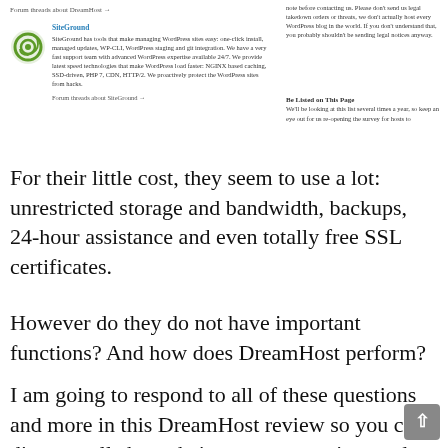Forum threads about DreamHost →
SiteGround
SiteGround has tools that make managing WordPress sites easy: one-click install, managed updates, WP-CLI, WordPress staging and git integration. We have a very fast support team with advanced WordPress expertise available 24/7. We provide latest speed technologies that make WordPress load faster: NGINX based caching, SSD-driven, PHP 7, CDN, HTTP/2. We proactively protect the WordPress sites from hacks.

Forum threads about SiteGround →
note before contacting us. Please don't send us legal takedown orders or threats, we don't actually host every WordPress blog in the world. If you don't understand that, you probably shouldn't be sending legal notices anyway.

Be Listed on This Page
We'll be looking at this list several times a year, so keep an eye out for us re-opening the survey for hosts to
For their little cost, they seem to use a lot: unrestricted storage and bandwidth, backups, 24-hour assistance and even totally free SSL certificates.
However do they do not have important functions? And how does DreamHost perform?
I am going to respond to all of these questions and more in this DreamHost review so you can discover all about their pros, cons, prices and when (and when not) to utilize them